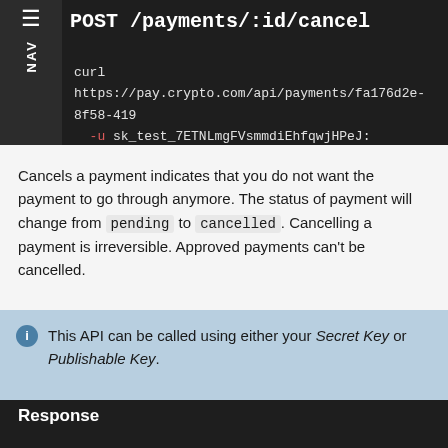POST /payments/:id/cancel
curl https://pay.crypto.com/api/payments/fa176d2e-8f58-419...
  -u sk_test_7ETNLmgFVsmmdiEhfqwjHPeJ:
Cancels a payment indicates that you do not want the payment to go through anymore. The status of payment will change from pending to cancelled. Cancelling a payment is irreversible. Approved payments can't be cancelled.
This API can be called using either your Secret Key or Publishable Key.
Response
{
  "id": "fa176d2e-8f58-419d-a531-e2c8e4dc3fa9",
  "amount": 2500,